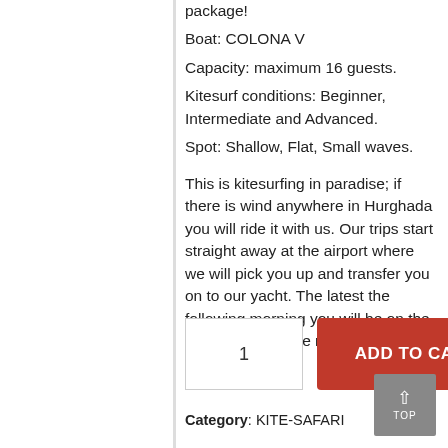package!
Boat: COLONA V
Capacity: maximum 16 guests.
Kitesurf conditions: Beginner, Intermediate and Advanced.
Spot: Shallow, Flat, Small waves.

This is kitesurfing in paradise; if there is wind anywhere in Hurghada you will ride it with us. Our trips start straight away at the airport where we will pick you up and transfer you on to our yacht. The latest the following morning you will be on the water enjoying the ripping wind.
1  ADD TO CART
Category: KITE-SAFARI